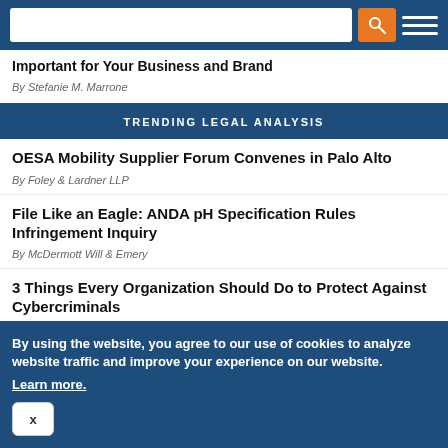Search bar and navigation menu
Important for Your Business and Brand
By Stefanie M. Marrone
TRENDING LEGAL ANALYSIS
OESA Mobility Supplier Forum Convenes in Palo Alto
By Foley & Lardner LLP
File Like an Eagle: ANDA pH Specification Rules Infringement Inquiry
By McDermott Will & Emery
3 Things Every Organization Should Do to Protect Against Cybercriminals
By Risk and Insurance Management Society, Inc. (RIMS)
Cannabis Can Dos and Cannots: Employers and Mississippi's Medical Marijuana Law
By using the website, you agree to our use of cookies to analyze website traffic and improve your experience on our website.
Learn more.